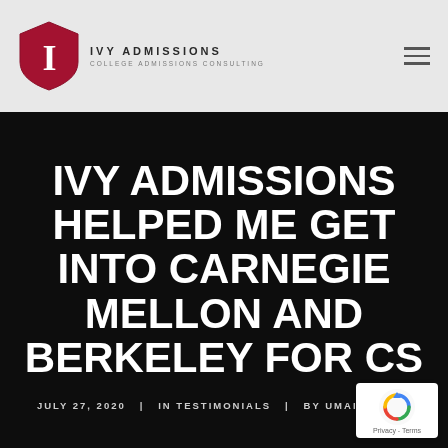[Figure (logo): Ivy Admissions logo: red shield with white letter I, alongside text IVY ADMISSIONS COLLEGE ADMISSIONS CONSULTING]
IVY ADMISSIONS HELPED ME GET INTO CARNEGIE MELLON AND BERKELEY FOR CS
JULY 27, 2020  |  IN TESTIMONIALS  |  BY UMAIR MALIK